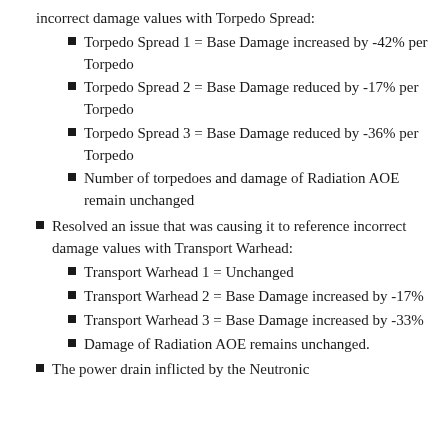incorrect damage values with Torpedo Spread:
Torpedo Spread 1 = Base Damage increased by -42% per Torpedo
Torpedo Spread 2 = Base Damage reduced by -17% per Torpedo
Torpedo Spread 3 = Base Damage reduced by -36% per Torpedo
Number of torpedoes and damage of Radiation AOE remain unchanged
Resolved an issue that was causing it to reference incorrect damage values with Transport Warhead:
Transport Warhead 1 = Unchanged
Transport Warhead 2 = Base Damage increased by -17%
Transport Warhead 3 = Base Damage increased by -33%
Damage of Radiation AOE remains unchanged.
The power drain inflicted by the Neutronic